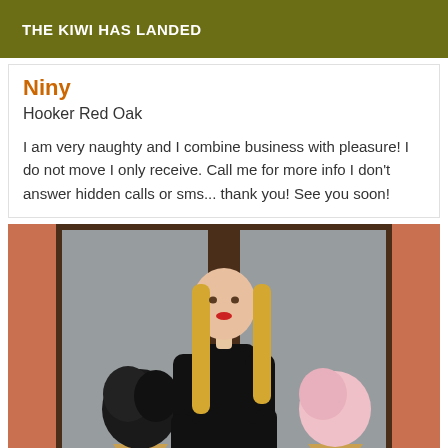THE KIWI HAS LANDED
Niny
Hooker Red Oak
I am very naughty and I combine business with pleasure! I do not move I only receive. Call me for more info I don't answer hidden calls or sms... thank you! See you soon!
[Figure (photo): A young blonde woman wearing a black dress standing in front of a shop door with ice cream cone decorations on the glass panels.]